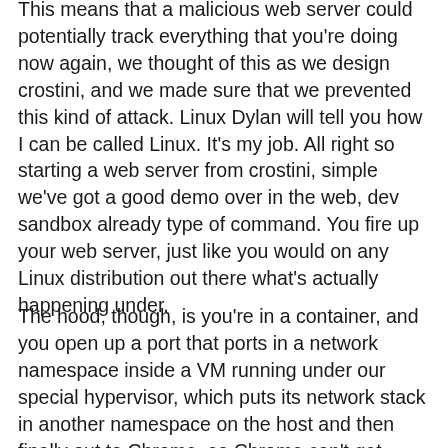This means that a malicious web server could potentially track everything that you're doing now again, we thought of this as we design crostini, and we made sure that we prevented this kind of attack. Linux Dylan will tell you how I can be called Linux. It's my job. All right so starting a web server from crostini, simple we've got a good demo over in the web, dev sandbox already type of command. You fire up your web server, just like you would on any Linux distribution out there what's actually happening under.
The hood, though, is you're in a container, and you open up a port that ports in a network namespace inside a VM running under our special hypervisor, which puts its network stack in another namespace on the host and then finally out to Chrome, so Chrome can't get Back in which is great for security, you've got wonderful isolation, but if I want to test this new PWA or webpage, I'm running in my